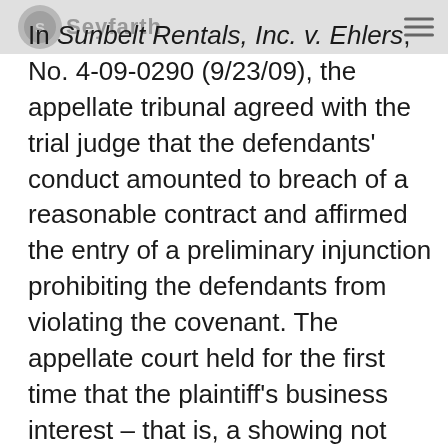Seyfarth
In Sunbelt Rentals, Inc. v. Ehlers, No. 4-09-0290 (9/23/09), the appellate tribunal agreed with the trial judge that the defendants’ conduct amounted to breach of a reasonable contract and affirmed the entry of a preliminary injunction prohibiting the defendants from violating the covenant. The appellate court held for the first time that the plaintiff’s business interest – that is, a showing not only that the time-and-territory restrictions were reasonable but also that the ex-employer had a “near permanent relationship” with customers and/or that information it provided to ex-employees was confidential – is irrelevant. In the process, the court overruled a number of its own prior decisions and criticized the reasoning of virtually every previous Illinois intermediate appellate decision in point.